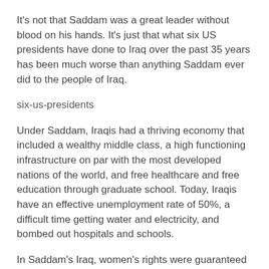It's not that Saddam was a great leader without blood on his hands. It's just that what six US presidents have done to Iraq over the past 35 years has been much worse than anything Saddam ever did to the people of Iraq.
six-us-presidents
Under Saddam, Iraqis had a thriving economy that included a wealthy middle class, a high functioning infrastructure on par with the most developed nations of the world, and free healthcare and free education through graduate school. Today, Iraqis have an effective unemployment rate of 50%, a difficult time getting water and electricity, and bombed out hospitals and schools.
In Saddam's Iraq, women's rights were guaranteed in the constitution, religion played virtually no role in government, Sunni and Shia got along relatively well, and al-Qaeda didn't exist. Today, Iraqis are facing Sharia law, Sunni and Shia are killing each other, and al-Qaeda in Iraq (now known as ISIS) has become arguably the most powerful non-government force in the world.